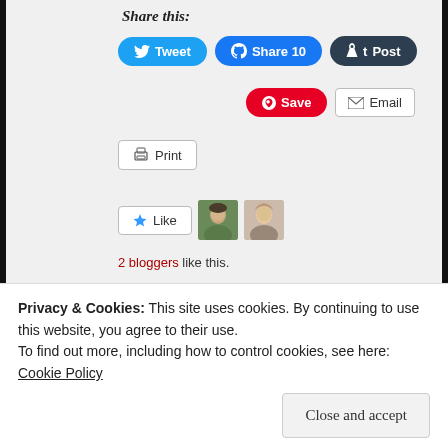Share this:
[Figure (screenshot): Social sharing buttons: Tweet, Share 10, Post, Save, Email, Print]
[Figure (screenshot): Like button with 2 blogger avatars]
2 bloggers like this.
[Figure (photo): Two religious icon paintings side by side — left shows a saint in Eastern Orthodox style with red/gold vestments; right shows another saint in similar style with brown/gold background]
Privacy & Cookies: This site uses cookies. By continuing to use this website, you agree to their use.
To find out more, including how to control cookies, see here:
Cookie Policy
Close and accept